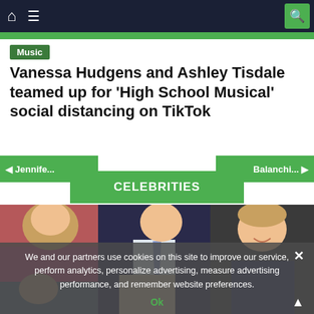Navigation bar with home, menu, and search icons
Music
Vanessa Hudgens and Ashley Tisdale teamed up for 'High School Musical' social distancing on TikTok
◄ Jennife... | CELEBRITIES | Balanchi... ►
[Figure (photo): Group photo showing multiple people including a woman in a pink outfit, a man in a navy suit with a tie, and a boy with light brown hair smiling]
We and our partners use cookies on this site to improve our service, perform analytics, personalize advertising, measure advertising performance, and remember website preferences.
Ok